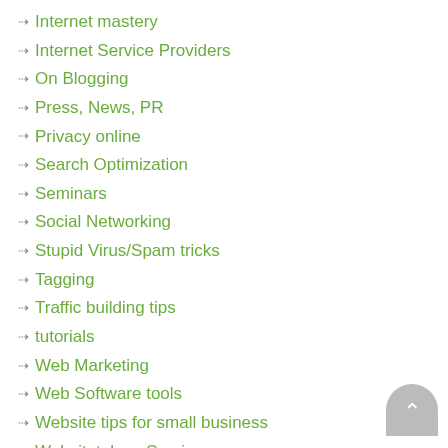Internet mastery
Internet Service Providers
On Blogging
Press, News, PR
Privacy online
Search Optimization
Seminars
Social Networking
Stupid Virus/Spam tricks
Tagging
Traffic building tips
tutorials
Web Marketing
Web Software tools
Website tips for small business
Websitetology Seminars
Websitetology Testimonials